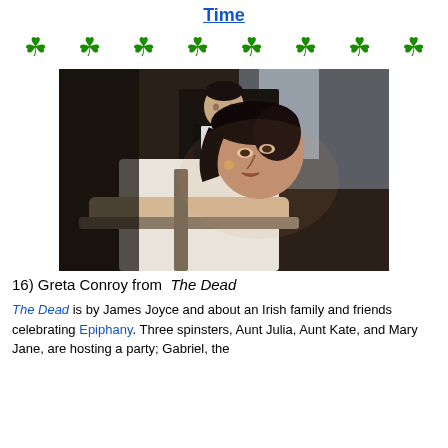Time
[Figure (photo): A movie still from The Dead showing a woman in a white blouse leaning on a chair with a man in a black vest and white shirt standing behind her.]
16) Greta Conroy from The Dead
The Dead is by James Joyce and about an Irish family and friends celebrating Epiphany. Three spinsters, Aunt Julia, Aunt Kate, and Mary Jane, are hosting a party; Gabriel, the